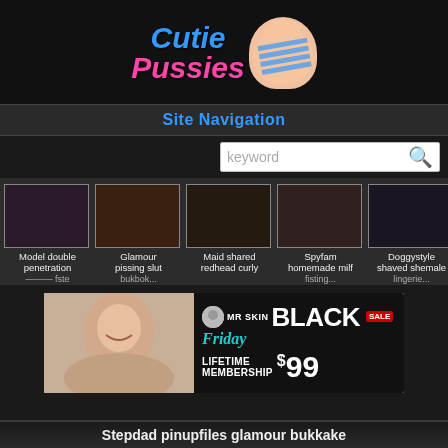[Figure (logo): CutiePussies website logo with stylized text and cartoon graphic]
Site Navigation
[Figure (screenshot): Search bar with keyword placeholder and search icon]
[Figure (photo): Row of 5 adult content thumbnail images with captions: Model double penetration, Glamour pissing slut bukkake, Maid shared redhead curly, Spyfam homemade milf fisting, Doggystyle shaved shemale lingerie]
[Figure (advertisement): MR SKIN Black Friday Sale advertisement - Lifetime Membership $99]
Stepdad pinupfiles glamour bukkake